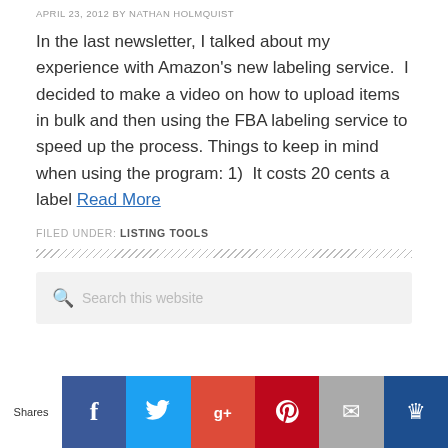APRIL 23, 2012 BY NATHAN HOLMQUIST
In the last newsletter, I talked about my experience with Amazon's new labeling service.  I decided to make a video on how to upload items in bulk and then using the FBA labeling service to speed up the process. Things to keep in mind when using the program: 1)  It costs 20 cents a label Read More
FILED UNDER: LISTING TOOLS
[Figure (other): Diagonal hatch divider line]
[Figure (screenshot): Search box with placeholder text 'Search this website']
[Figure (infographic): Social share bar with Facebook, Twitter, Google+, Pinterest, Email, and crown buttons. Label: Shares]